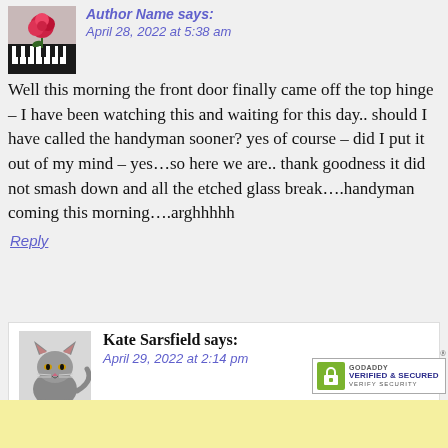April 28, 2022 at 5:38 am
Well this morning the front door finally came off the top hinge – I have been watching this and waiting for this day.. should I have called the handyman sooner? yes of course – did I put it out of my mind – yes…so here we are.. thank goodness it did not smash down and all the etched glass break….handyman coming this morning….arghhhhh
Reply
Kate Sarsfield says:
April 29, 2022 at 2:14 pm
You mean it wasn't on one of your lists? At least it wasn't smashed.
Reply
[Figure (logo): GoDaddy Verified & Secured badge]